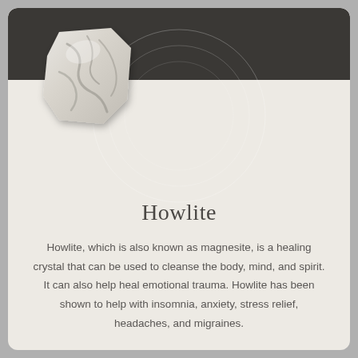[Figure (photo): A rough white and grey marbled howlite stone crystal on a light beige background with decorative concentric circles]
Howlite
Howlite, which is also known as magnesite, is a healing crystal that can be used to cleanse the body, mind, and spirit. It can also help heal emotional trauma. Howlite has been shown to help with insomnia, anxiety, stress relief, headaches, and migraines.